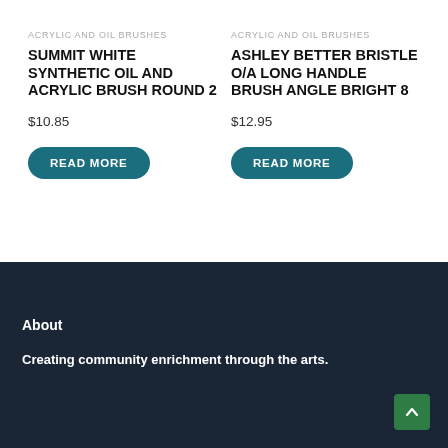ACRYLIC AND OIL BRUSHES
SUMMIT WHITE SYNTHETIC OIL AND ACRYLIC BRUSH ROUND 2
$10.85
READ MORE
ACRYLIC AND OIL BRUSHES
ASHLEY BETTER BRISTLE O/A LONG HANDLE BRUSH ANGLE BRIGHT 8
$12.95
READ MORE
About
Creating community enrichment through the arts.